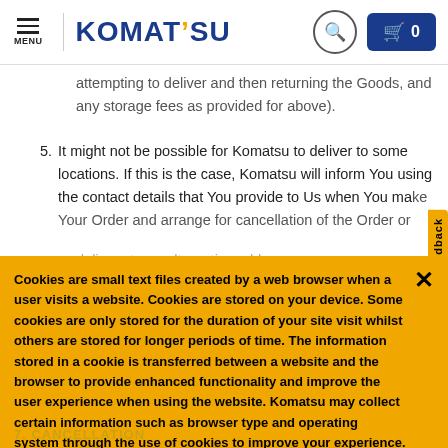KOMATSU — MENU
attempting to deliver and then returning the Goods, and any storage fees as provided for above).
5. It might not be possible for Komatsu to deliver to some locations. If this is the case, Komatsu will inform You using the contact details that You provide to Us when You make Your Order and arrange for cancellation of the Order or delivery to an alternative address.
Cookies are small text files created by a web browser when a user visits a website. Cookies are stored on your device. Some cookies are only stored for the duration of your site visit whilst others are stored for longer periods of time. The information stored in a cookie is transferred between a website and the browser to provide enhanced functionality and improve the user experience when using the website. Komatsu may collect certain information such as browser type and operating system through the use of cookies to improve your experience. You acknowledge this by using our website.
7. CANCELLATION